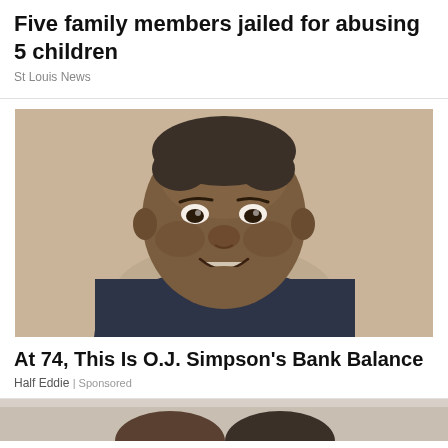Five family members jailed for abusing 5 children
St Louis News
[Figure (photo): Portrait photo of O.J. Simpson smiling, wearing a dark blue shirt, against a beige background]
At 74, This Is O.J. Simpson's Bank Balance
Half Eddie | Sponsored
[Figure (photo): Partial bottom image cropped, showing tops of heads]